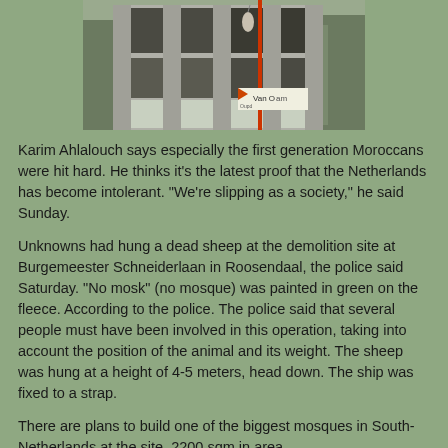[Figure (photo): Photo of a partially demolished or under-construction building with exposed concrete pillars and open windows. A red pole is visible on the right side. A 'Van Oam' construction sign is visible in the lower right portion of the image. Trees are visible in the background.]
Karim Ahlalouch says especially the first generation Moroccans were hit hard. He thinks it's the latest proof that the Netherlands has become intolerant. "We're slipping as a society," he said Sunday.
Unknowns had hung a dead sheep at the demolition site at Burgemeester Schneiderlaan in Roosendaal, the police said Saturday. "No mosk" (no mosque) was painted in green on the fleece. According to the police. The police said that several people must have been involved in this operation, taking into account the position of the animal and its weight. The sheep was hung at a height of 4-5 meters, head down. The ship was fixed to a strap.
There are plans to build one of the biggest mosques in South-Netherlands at the site, 2200 sqm in area.